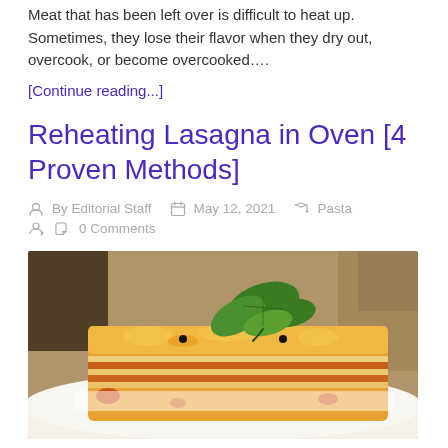Meat that has been left over is difficult to heat up. Sometimes, they lose their flavor when they dry out, overcook, or become overcooked….
[Continue reading...]
Reheating Lasagna in Oven [4 Proven Methods]
By Editorial Staff   May 12, 2021   Pasta   0 Comments
[Figure (photo): A serving of lasagna on a white plate, topped with fresh green basil leaves, with visible layers of pasta, meat sauce, and melted cheese.]